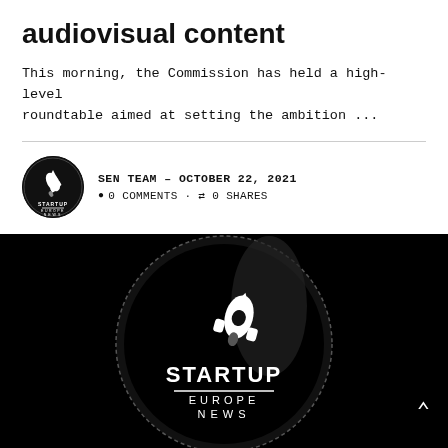audiovisual content
This morning, the Commission has held a high-level roundtable aimed at setting the ambition ...
SEN TEAM - OCTOBER 22, 2021
● 0 COMMENTS · ⇄ 0 SHARES
[Figure (logo): Startup Europe News circular logo with rocket icon on black background, text reads STARTUP EUROPE NEWS]